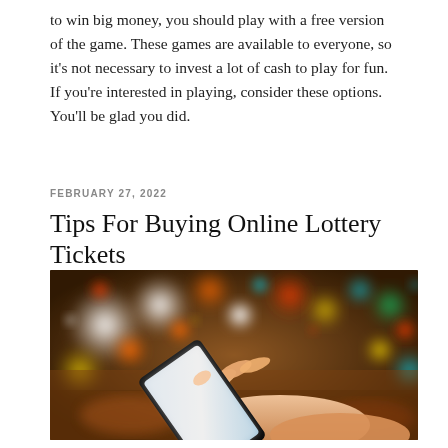to win big money, you should play with a free version of the game. These games are available to everyone, so it's not necessary to invest a lot of cash to play for fun. If you're interested in playing, consider these options. You'll be glad you did.
FEBRUARY 27, 2022
Tips For Buying Online Lottery Tickets
[Figure (photo): A person holding a smartphone with both hands, with blurred bokeh city lights in the background at night. Warm orange and colorful bokeh circles visible.]